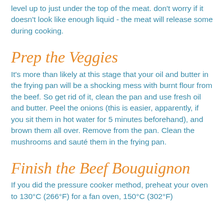level up to just under the top of the meat. don't worry if it doesn't look like enough liquid - the meat will release some during cooking.
Prep the Veggies
It's more than likely at this stage that your oil and butter in the frying pan will be a shocking mess with burnt flour from the beef. So get rid of it, clean the pan and use fresh oil and butter. Peel the onions (this is easier, apparently, if you sit them in hot water for 5 minutes beforehand), and brown them all over. Remove from the pan. Clean the mushrooms and sauté them in the frying pan.
Finish the Beef Bouguignon
If you did the pressure cooker method, preheat your oven to 130°C (266°F) for a fan oven, 150°C (302°F)